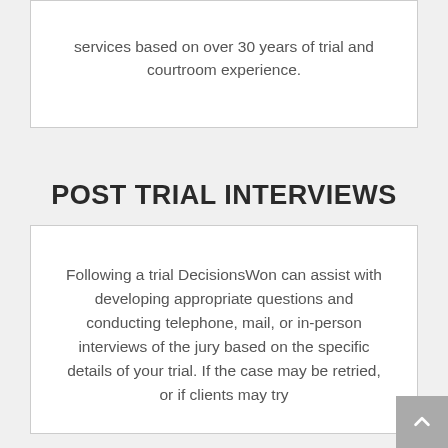services based on over 30 years of trial and courtroom experience.
POST TRIAL INTERVIEWS
Following a trial DecisionsWon can assist with developing appropriate questions and conducting telephone, mail, or in-person interviews of the jury based on the specific details of your trial. If the case may be retried, or if clients may try